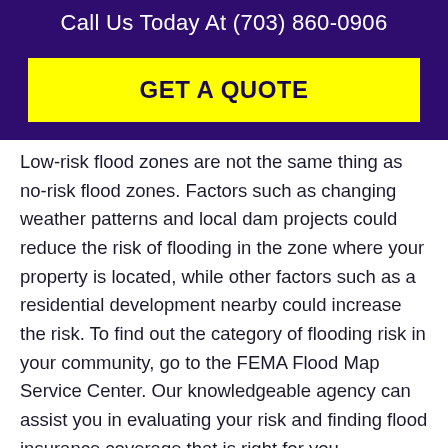Call Us Today At (703) 860-0906
GET A QUOTE
Low-risk flood zones are not the same thing as no-risk flood zones. Factors such as changing weather patterns and local dam projects could reduce the risk of flooding in the zone where your property is located, while other factors such as a residential development nearby could increase the risk. To find out the category of flooding risk in your community, go to the FEMA Flood Map Service Center. Our knowledgeable agency can assist you in evaluating your risk and finding flood insurance coverage that is right for you.